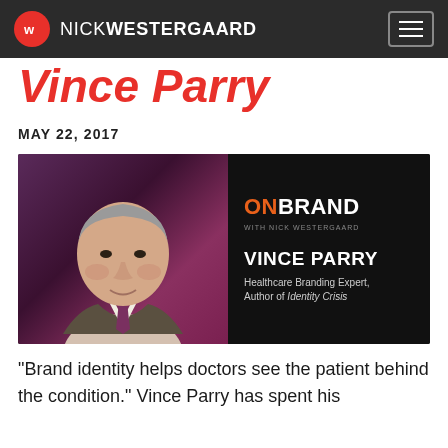NICK WESTERGAARD
Vince Parry
MAY 22, 2017
[Figure (photo): On Brand podcast cover image featuring Vince Parry, Healthcare Branding Expert, Author of Identity Crisis, with photo of Vince Parry on left and ON BRAND with Nick Westergaard branding on right]
“Brand identity helps doctors see the patient behind the condition.” Vince Parry has spent his